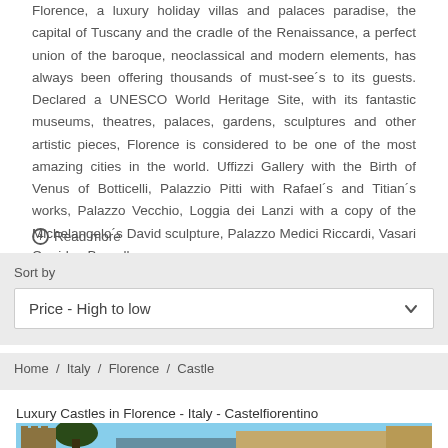Florence, a luxury holiday villas and palaces paradise, the capital of Tuscany and the cradle of the Renaissance, a perfect union of the baroque, neoclassical and modern elements, has always been offering thousands of must-see´s to its guests. Declared a UNESCO World Heritage Site, with its fantastic museums, theatres, palaces, gardens, sculptures and other artistic pieces, Florence is considered to be one of the most amazing cities in the world. Uffizzi Gallery with the Birth of Venus of Botticelli, Palazzio Pitti with Rafael´s and Titian´s works, Palazzo Vecchio, Loggia dei Lanzi with a copy of the Michelangelo´s David sculpture, Palazzo Medici Riccardi, Vasari Corridor, Bargello
+ Read more
Sort by
Price - High to low
Home / Italy / Florence / Castle
Luxury Castles in Florence - Italy - Castelfiorentino
[Figure (photo): Photo of a luxury castle in Castelfiorentino, Florence, Italy. Shows medieval castle architecture with crenellated towers on the left, large trees in the center, and a stone building on the right, against a blue sky.]